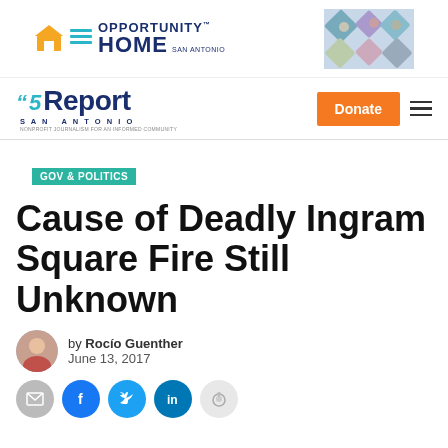[Figure (logo): Opportunity Home San Antonio advertisement banner with logo and photo collage]
[Figure (logo): San Antonio Report logo with Donate button and hamburger menu]
GOV & POLITICS
Cause of Deadly Ingram Square Fire Still Unknown
by Rocío Guenther
June 13, 2017
[Figure (other): Social sharing buttons: email, Facebook, Twitter, LinkedIn, Reddit]